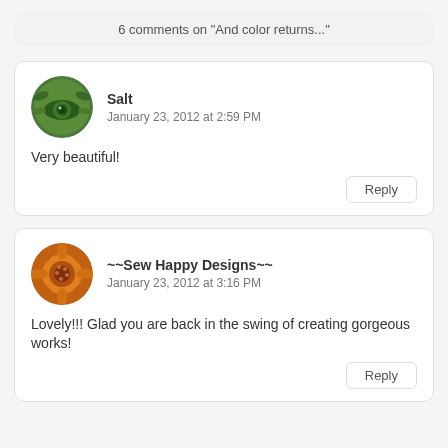6 comments on "And color returns..."
Salt
January 23, 2012 at 2:59 PM
Very beautiful!
~~Sew Happy Designs~~
January 23, 2012 at 3:16 PM
Lovely!!! Glad you are back in the swing of creating gorgeous works!